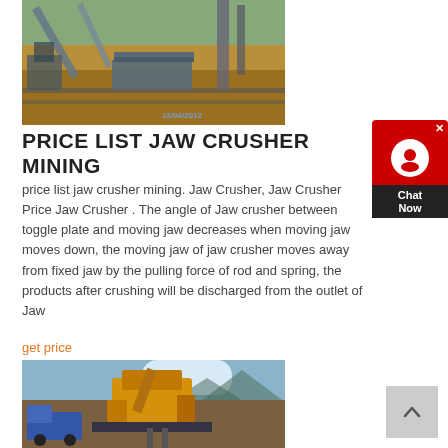[Figure (photo): Aerial view of a jaw crusher mining facility with machinery, conveyor belts, and earthworks. Timestamp 13/06/2012 visible on image.]
PRICE LIST JAW CRUSHER MINING
price list jaw crusher mining. Jaw Crusher, Jaw Crusher Price Jaw Crusher . The angle of Jaw crusher between toggle plate and moving jaw decreases when moving jaw moves down, the moving jaw of jaw crusher moves away from fixed jaw by the pulling force of rod and spring, the products after crushing will be discharged from the outlet of Jaw
get price
[Figure (photo): Photo of a large yellow jaw crusher machine on a mobile platform in an outdoor mining setting with mountains in the background.]